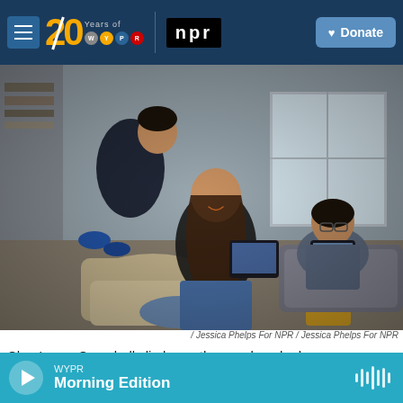WYPR 20 Years of WYPR | npr | Donate
[Figure (photo): A woman sitting on a chair holding a tablet, smiling up at a young boy climbing on the back of the chair. In the background, a teenage girl sits on a couch using a tablet.]
/ Jessica Phelps For NPR / Jessica Phelps For NPR
Chen's son Campbell climbs on the couch as he becomes restless while doing schoolwork at home.
WYPR Morning Edition